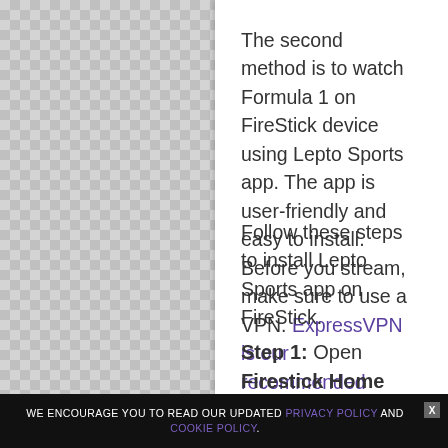The second method is to watch Formula 1 on FireStick device using Lepto Sports app. The app is user-friendly and easy to install. Before you stream, make sure to use a VPN. ExpressVPN is our recommended choice.
Follow these steps to install Lepto Sports app on FireStick.
Step 1: Open Firestick Home
WE ENCOURAGE YOU TO READ OUR UPDATED PRIVACY POLICY AND COOKIE POLICY.